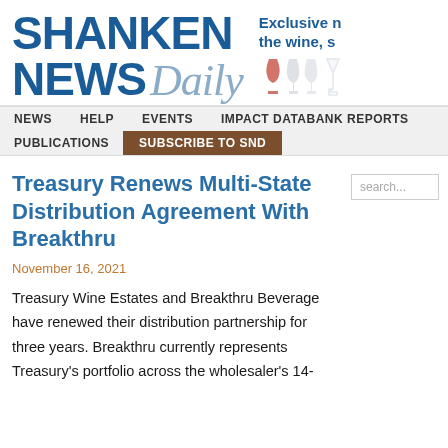SHANKEN NEWS Daily — Exclusive news for the wine, spirits industry
Treasury Renews Multi-State Distribution Agreement With Breakthru
November 16, 2021
Treasury Wine Estates and Breakthru Beverage have renewed their distribution partnership for three years. Breakthru currently represents Treasury's portfolio across the wholesaler's 14-